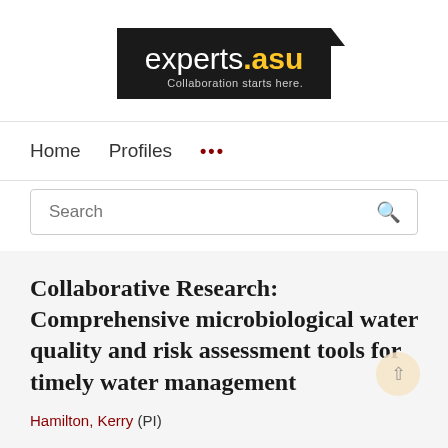[Figure (logo): experts.asu logo — black rectangle with white text 'experts' and gold '.asu', tagline 'Collaboration starts here.' in light grey]
Home   Profiles   ...
Search
Collaborative Research: Comprehensive microbiological water quality and risk assessment tools for timely water management
Hamilton, Kerry (PI)